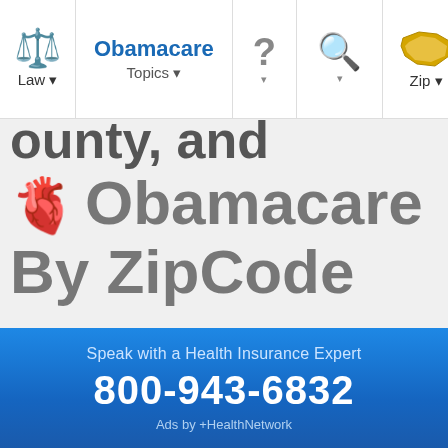Law | Obamacare Topics | ? | Search | Zip
🫀 Obamacare By ZipCode
LOCAL OBAMACARE INFO
How to Sign Up for Obamacare in Virginia
What Virginia Residents Need to Know About Obamacare
Who Needs Obamacare in Alleghany County
Get Help Finding a Health Insurance Plan in Alleghany
Speak with a Health Insurance Expert
800-943-6832
Ads by +HealthNetwork